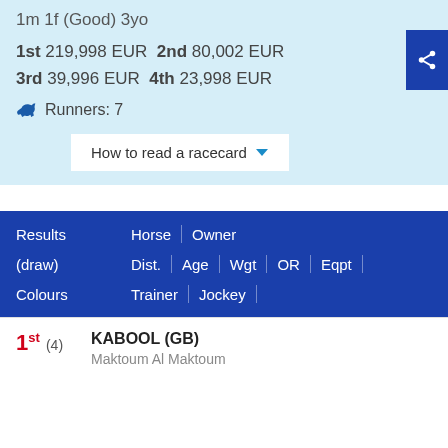1m 1f (Good) 3yo
1st 219,998 EUR 2nd 80,002 EUR 3rd 39,996 EUR 4th 23,998 EUR
Runners: 7
How to read a racecard
| Results (draw) Colours | Horse | Owner | Dist. | Age | Wgt | OR | Eqpt | Trainer | Jockey |
| --- | --- | --- | --- |
1st (4) KABOOL (GB) Maktoum Al Maktoum